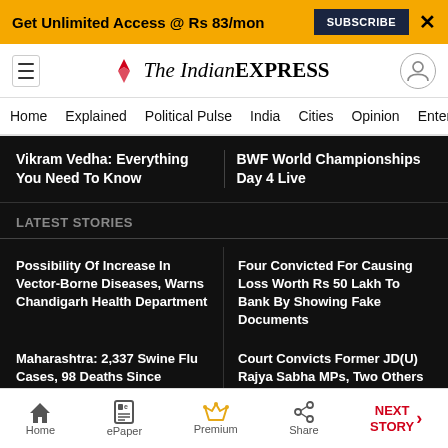Get Unlimited Access @ Rs 83/mon  SUBSCRIBE  X
[Figure (logo): The Indian Express logo with hamburger menu and user icon]
Home  Explained  Political Pulse  India  Cities  Opinion  Entertainment
Vikram Vedha: Everything You Need To Know
BWF World Championships Day 4 Live
LATEST STORIES
Possibility Of Increase In Vector-Borne Diseases, Warns Chandigarh Health Department
Four Convicted For Causing Loss Worth Rs 50 Lakh To Bank By Showing Fake Documents
Maharashtra: 2,337 Swine Flu Cases, 98 Deaths Since January 1 In State
Court Convicts Former JD(U) Rajya Sabha MPs, Two Others For Forging Air Tickets
Home  ePaper  Premium  Share  NEXT STORY